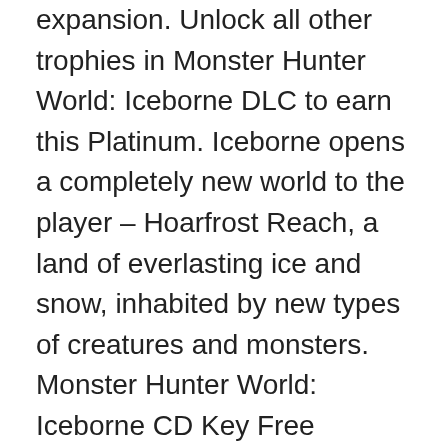expansion. Unlock all other trophies in Monster Hunter World: Iceborne DLC to earn this Platinum. Iceborne opens a completely new world to the player – Hoarfrost Reach, a land of everlasting ice and snow, inhabited by new types of creatures and monsters. Monster Hunter World: Iceborne CD Key Free Download is Always to Dragon Hunter World what Monster Hunter 4 Ultimate Has Been to, as well, Dragon Hunter 4. Massive "Monster Hunter World: Iceborne" expansion A diverse locale, rich with endemic life. "Monster Hunter World: Iceborne" content: - "Monster Hunter World: Iceborne… Monster Hunter: World, the game that brought you a new style of hunting action, is about to get even bigger with the massive Monster Hunter World: Iceborne expansion! Discover the best Game Key offers, compare prices to download and play Monster Hunter: World - Iceborne -